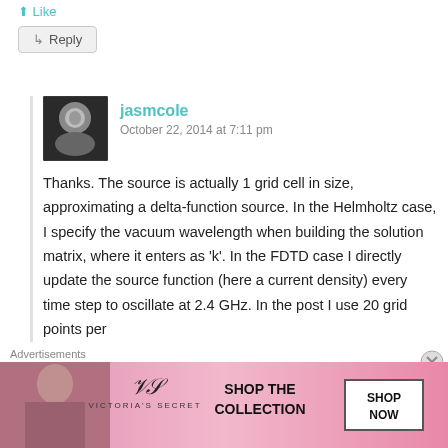↳ Like
↳ Reply
jasmcole
October 22, 2014 at 7:11 pm
Thanks. The source is actually 1 grid cell in size, approximating a delta-function source. In the Helmholtz case, I specify the vacuum wavelength when building the solution matrix, where it enters as 'k'. In the FDTD case I directly update the source function (here a current density) every time step to oscillate at 2.4 GHz. In the post I use 20 grid points per
[Figure (photo): Avatar photo of jasmcole - black and white photo of a young man]
Advertisements
[Figure (photo): Victoria's Secret advertisement banner - pink background with model, VS logo, SHOP THE COLLECTION text, and SHOP NOW button]